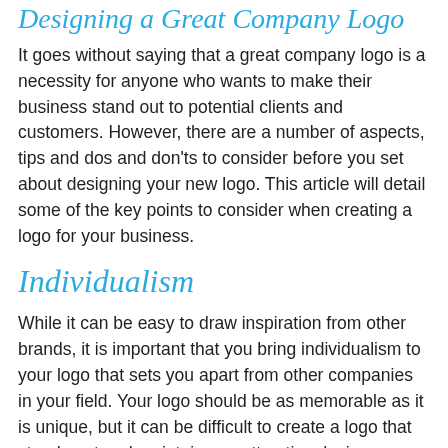Designing a Great Company Logo
It goes without saying that a great company logo is a necessity for anyone who wants to make their business stand out to potential clients and customers. However, there are a number of aspects, tips and dos and don'ts to consider before you set about designing your new logo. This article will detail some of the key points to consider when creating a logo for your business.
Individualism
While it can be easy to draw inspiration from other brands, it is important that you bring individualism to your logo that sets you apart from other companies in your field. Your logo should be as memorable as it is unique, but it can be difficult to create a logo that stands out and maintains an attractive design.
Relevant for Purpose